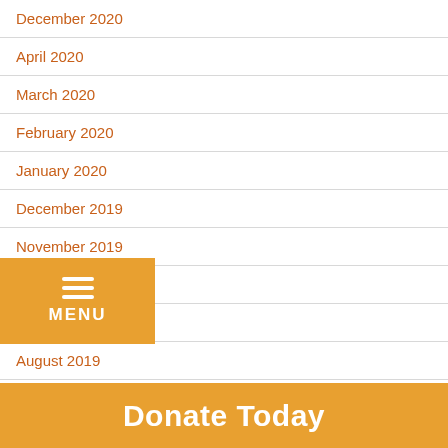December 2020
April 2020
March 2020
February 2020
January 2020
December 2019
November 2019
October 2019
September 2019
August 2019
July 2019
June 2019
May 2019
April 2019
[Figure (screenshot): Orange MENU button overlay with three horizontal white lines icon]
Donate Today